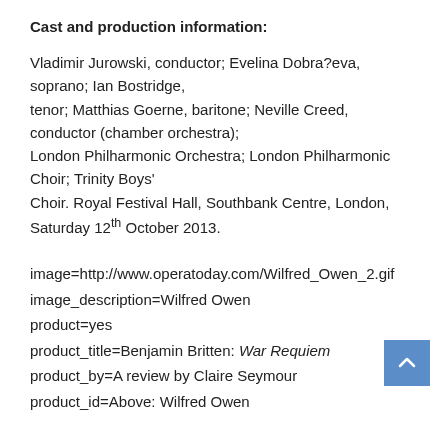Cast and production information:
Vladimir Jurowski, conductor; Evelina Dobra?eva, soprano; Ian Bostridge, tenor; Matthias Goerne, baritone; Neville Creed, conductor (chamber orchestra); London Philharmonic Orchestra; London Philharmonic Choir; Trinity Boys' Choir. Royal Festival Hall, Southbank Centre, London, Saturday 12th October 2013.
image=http://www.operatoday.com/Wilfred_Owen_2.gif
image_description=Wilfred Owen
product=yes
product_title=Benjamin Britten: War Requiem
product_by=A review by Claire Seymour
product_id=Above: Wilfred Owen